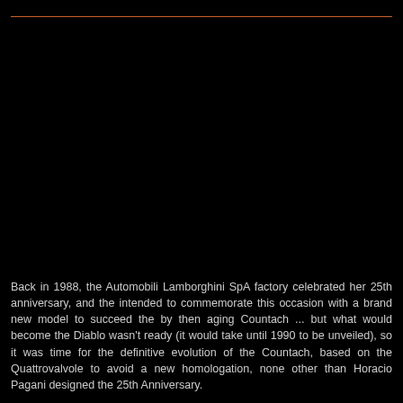[Figure (photo): Dark/black image area showing a Lamborghini Countach 25th Anniversary, largely obscured in shadow. A thin orange/brown horizontal line appears near the top of the image area.]
Back in 1988, the Automobili Lamborghini SpA factory celebrated her 25th anniversary, and the intended to commemorate this occasion with a brand new model to succeed the by then aging Countach ... but what would become the Diablo wasn't ready (it would take until 1990 to be unveiled), so it was time for the definitive evolution of the Countach, based on the Quattrovalvole to avoid a new homologation, none other than Horacio Pagani designed the 25th Anniversary.